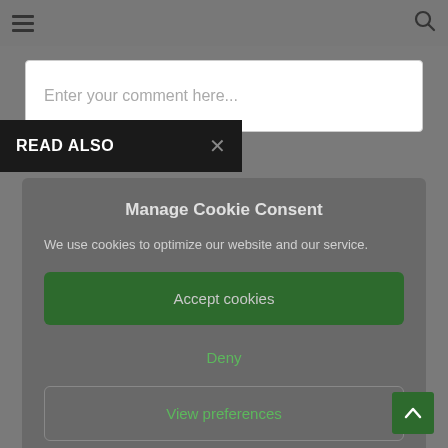☰  🔍
Enter your comment here...
READ ALSO ×
Manage Cookie Consent
We use cookies to optimize our website and our service.
Accept cookies
Deny
View preferences